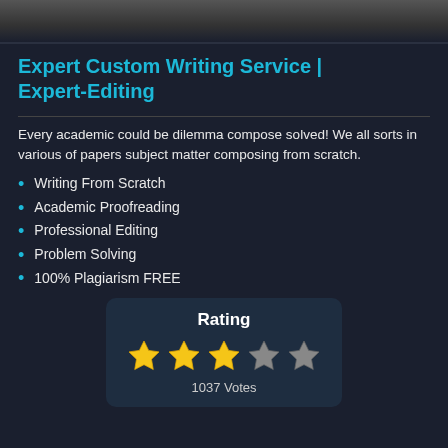[Figure (photo): Dark textured background image at the top of the page]
Expert Custom Writing Service | Expert-Editing
Every academic could be dilemma compose solved! We all sorts in various of papers subject matter composing from scratch.
Writing From Scratch
Academic Proofreading
Professional Editing
Problem Solving
100% Plagiarism FREE
[Figure (infographic): Rating card showing 3 out of 5 stars with 1037 Votes]